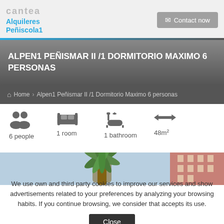Alquileres Peñiscola1 — Contact now
ALPEN1 PEÑISMAR II /1 DORMITORIO MAXIMO 6 PERSONAS
Home > Alpen1 Peñismar II /1 Dormitorio Maximo 6 personas
6 people  1 room  1 bathroom  48m²
[Figure (photo): Outdoor photo showing a palm tree and a residential building]
We use own and third party cookies to improve our services and show advertisements related to your preferences by analyzing your browsing habits. If you continue browsing, we consider that accepts its use. Close